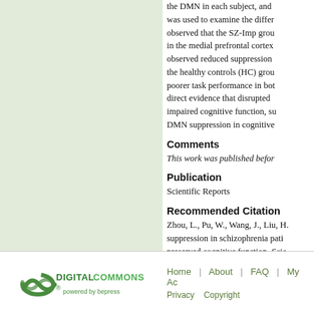the DMN in each subject, and was used to examine the differences. We observed that the SZ-Imp group in the medial prefrontal cortex observed reduced suppression in the healthy controls (HC) group poorer task performance in both direct evidence that disrupted impaired cognitive function, suggesting DMN suppression in cognitive
Comments
This work was published before
Publication
Scientific Reports
Recommended Citation
Zhou, L., Pu, W., Wang, J., Liu, H., suppression in schizophrenia patients with preserved cognitive function. Scientific
[Figure (logo): Digital Commons powered by bepress logo — green infinity/swoosh icon with 'DIGITALCOMMONS' in bold green and 'powered by bepress' in smaller green text below]
Home | About | FAQ | My Ac Privacy Copyright